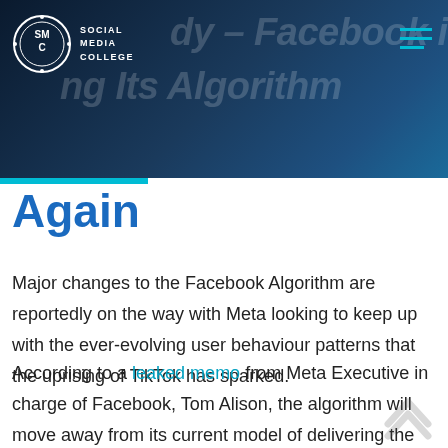Social Media College – Facebook is Changing Its Algorithm Again
Again
Major changes to the Facebook Algorithm are reportedly on the way with Meta looking to keep up with the ever-evolving user behaviour patterns that the uprising of TikTok has sparked.
According to a leaked memo from Meta Executive in charge of Facebook, Tom Alison, the algorithm will move away from its current model of delivering the majority of the content from pages that the user follows, and will start heavily prioritising posts that the